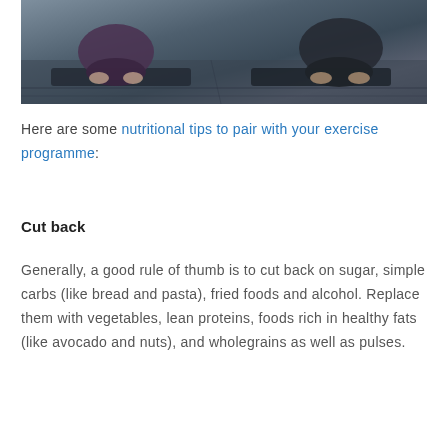[Figure (photo): Two people sitting on yoga mats on a wooden floor, photographed from above/behind, wearing dark athletic clothing.]
Here are some nutritional tips to pair with your exercise programme:
Cut back
Generally, a good rule of thumb is to cut back on sugar, simple carbs (like bread and pasta), fried foods and alcohol. Replace them with vegetables, lean proteins, foods rich in healthy fats (like avocado and nuts), and wholegrains as well as pulses.